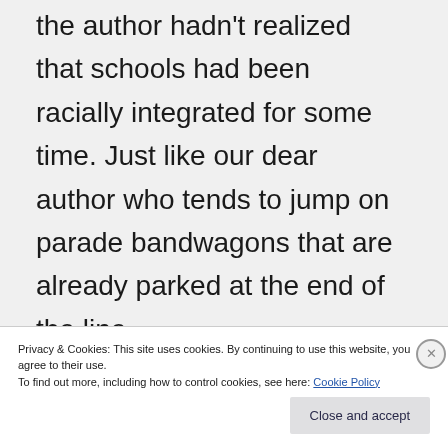the author hadn't realized that schools had been racially integrated for some time. Just like our dear author who tends to jump on parade bandwagons that are already parked at the end of the line.
Privacy & Cookies: This site uses cookies. By continuing to use this website, you agree to their use. To find out more, including how to control cookies, see here: Cookie Policy